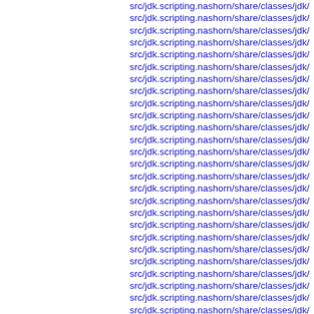src/jdk.scripting.nashorn/share/classes/jdk/
src/jdk.scripting.nashorn/share/classes/jdk/
src/jdk.scripting.nashorn/share/classes/jdk/
src/jdk.scripting.nashorn/share/classes/jdk/
src/jdk.scripting.nashorn/share/classes/jdk/
src/jdk.scripting.nashorn/share/classes/jdk/
src/jdk.scripting.nashorn/share/classes/jdk/
src/jdk.scripting.nashorn/share/classes/jdk/
src/jdk.scripting.nashorn/share/classes/jdk/
src/jdk.scripting.nashorn/share/classes/jdk/
src/jdk.scripting.nashorn/share/classes/jdk/
src/jdk.scripting.nashorn/share/classes/jdk/
src/jdk.scripting.nashorn/share/classes/jdk/
src/jdk.scripting.nashorn/share/classes/jdk/
src/jdk.scripting.nashorn/share/classes/jdk/
src/jdk.scripting.nashorn/share/classes/jdk/
src/jdk.scripting.nashorn/share/classes/jdk/
src/jdk.scripting.nashorn/share/classes/jdk/
src/jdk.scripting.nashorn/share/classes/jdk/
src/jdk.scripting.nashorn/share/classes/jdk/
src/jdk.scripting.nashorn/share/classes/jdk/
src/jdk.scripting.nashorn/share/classes/jdk/
src/jdk.scripting.nashorn/share/classes/jdk/
src/jdk.scripting.nashorn/share/classes/jdk/
src/jdk.scripting.nashorn/share/classes/jdk/
src/jdk.scripting.nashorn/share/classes/jdk/
src/jdk.scripting.nashorn/share/classes/jdk/
src/jdk.scripting.nashorn/share/classes/jdk/